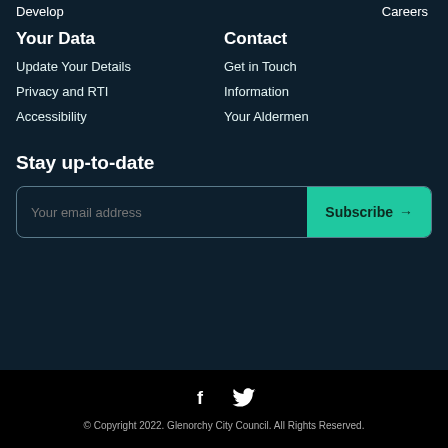Develop
Careers
Your Data
Contact
Update Your Details
Get in Touch
Privacy and RTI
Information
Accessibility
Your Aldermen
Stay up-to-date
Your email address
Subscribe →
[Figure (illustration): Facebook and Twitter social media icons in white on black background]
© Copyright 2022. Glenorchy City Council. All Rights Reserved.